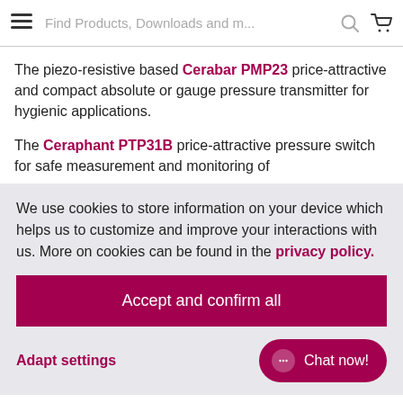Find Products, Downloads and m...
The piezo-resistive based Cerabar PMP23 price-attractive and compact absolute or gauge pressure transmitter for hygienic applications.
The Ceraphant PTP31B price-attractive pressure switch for safe measurement and monitoring of
We use cookies to store information on your device which helps us to customize and improve your interactions with us. More on cookies can be found in the privacy policy.
Accept and confirm all
Adapt settings
Chat now!